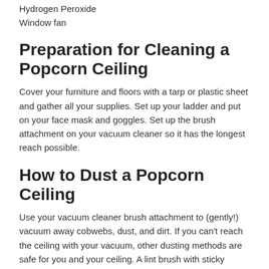Hydrogen Peroxide
Window fan
Preparation for Cleaning a Popcorn Ceiling
Cover your furniture and floors with a tarp or plastic sheet and gather all your supplies. Set up your ladder and put on your face mask and goggles. Set up the brush attachment on your vacuum cleaner so it has the longest reach possible.
How to Dust a Popcorn Ceiling
Use your vacuum cleaner brush attachment to (gently!) vacuum away cobwebs, dust, and dirt. If you can't reach the ceiling with your vacuum, other dusting methods are safe for you and your ceiling. A lint brush with sticky paper or microfiber duster is ideal for removing dirt and dust from popcorn ceilings. Test a corner area of the ceiling first to make sure the adhesive on the roller isn't too strong. To save time and avoid the danger of standing on a ladder, invest in an extension pole that allows you to use the lint roller or duster while standing on the floor.